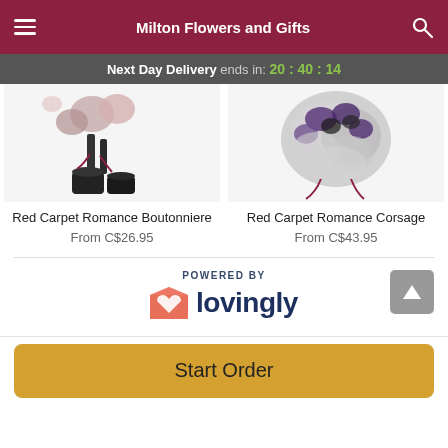Milton Flowers and Gifts
Next Day Delivery ends in: 20 : 40 : 14
[Figure (photo): Red Carpet Romance Boutonniere product image showing boutonniere with black boots/base]
Red Carpet Romance Boutonniere
From C$26.95
[Figure (photo): Red Carpet Romance Corsage product image showing corsage with gray/purple flowers]
Red Carpet Romance Corsage
From C$43.95
[Figure (logo): POWERED BY lovingly logo with pink heart shape]
Start Order